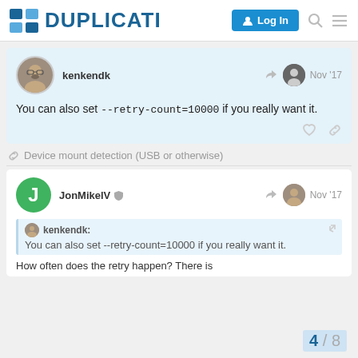DUPLICATI — Log In
kenkendk  Nov '17
You can also set --retry-count=10000 if you really want it.
Device mount detection (USB or otherwise)
JonMikelV  Nov '17
kenkendk: You can also set --retry-count=10000 if you really want it.
How often does the retry happen? There is
4 / 8